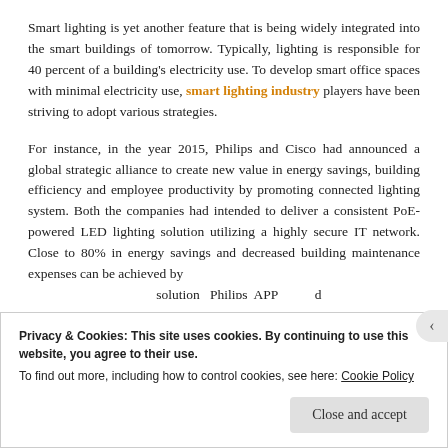Smart lighting is yet another feature that is being widely integrated into the smart buildings of tomorrow. Typically, lighting is responsible for 40 percent of a building's electricity use. To develop smart office spaces with minimal electricity use, smart lighting industry players have been striving to adopt various strategies.
For instance, in the year 2015, Philips and Cisco had announced a global strategic alliance to create new value in energy savings, building efficiency and employee productivity by promoting connected lighting system. Both the companies had intended to deliver a consistent PoE-powered LED lighting solution utilizing a highly secure IT network. Close to 80% in energy savings and decreased building maintenance expenses can be achieved by [cut off]
Privacy & Cookies: This site uses cookies. By continuing to use this website, you agree to their use.
To find out more, including how to control cookies, see here: Cookie Policy
Close and accept